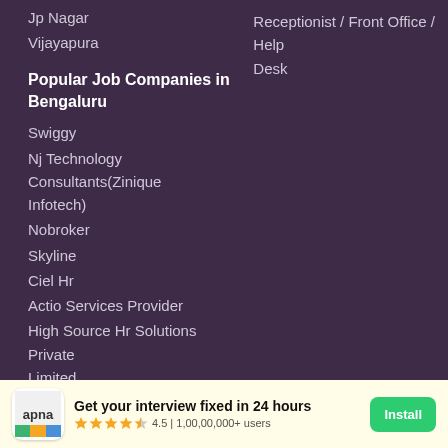Jp Nagar
Vijayapura
Receptionist / Front Office / Help Desk
Popular Job Companies in Bengaluru
Swiggy
Nj Technology Consultants(Zinique Infotech)
Nobroker
Skyline
Ciel Hr
Actio Services Provider
High Source Hr Solutions Private Limited
Micelio- Lightning Logistics
Deekshitha Traders
Teamlease
Get your interview fixed in 24 hours
4.5 | 1,00,00,000+ users